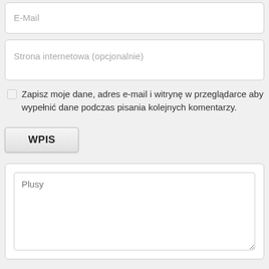[Figure (screenshot): Web form with E-Mail input field (placeholder text 'E-Mail'), a website input field (placeholder 'Strona internetowa (opcjonalnie)'), a checkbox with label text 'Zapisz moje dane, adres e-mail i witrynę w przeglądarce aby wypełnić dane podczas pisania kolejnych komentarzy.', a submit button labeled 'WPIS', and a large textarea with placeholder 'Plusy' inside a white box.]